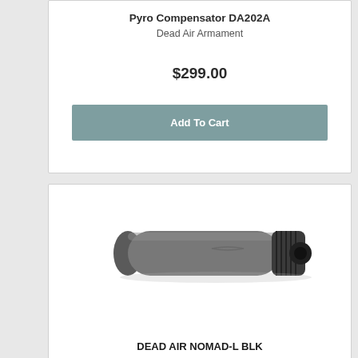Pyro Compensator DA202A
Dead Air Armament
$299.00
Add To Cart
[Figure (photo): Photo of a cylindrical suppressor/silencer device, gray color, with a knurled black end cap, viewed at a slight angle.]
DEAD AIR NOMAD-L BLK